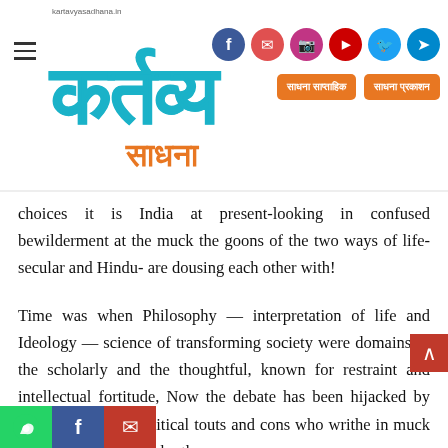kartavyasadhana.in — Kartavya Sadhana logo with social icons and navigation buttons
choices it is India at present-looking in confused bewilderment at the muck the goons of the two ways of life-secular and Hindu- are dousing each other with!
Time was when Philosophy — interpretation of life and Ideology — science of transforming society were domains of the scholarly and the thoughtful, known for restraint and intellectual fortitude, Now the debate has been hijacked by brash unthinking political touts and cons who writhe in muck and keep slinging each other.